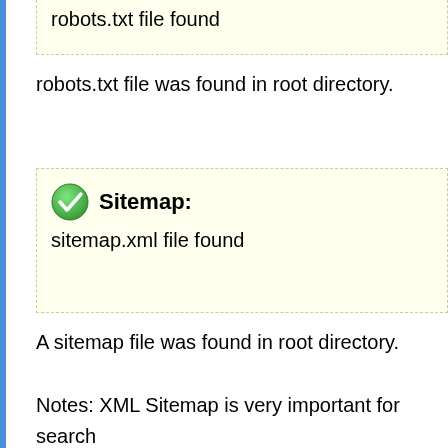robots.txt file found
robots.txt file was found in root directory.
Sitemap:
sitemap.xml file found
A sitemap file was found in root directory.
Notes: XML Sitemap is very important for search because it makes easier search engines discove on website.